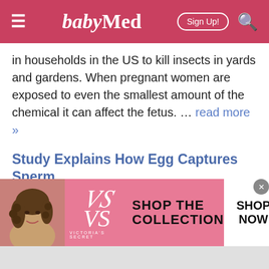babyMed
in households in the US to kill insects in yards and gardens. When pregnant women are exposed to even the smallest amount of the chemical it can affect the fetus. … read more »
Study Explains How Egg Captures Sperm
Scientists have discovered precisely how the human egg cells capture sperm to start the process of fertilization. … read more »
[Figure (other): Victoria's Secret advertisement banner with model photo, VS logo, 'SHOP THE COLLECTION' text and 'SHOP NOW' button]